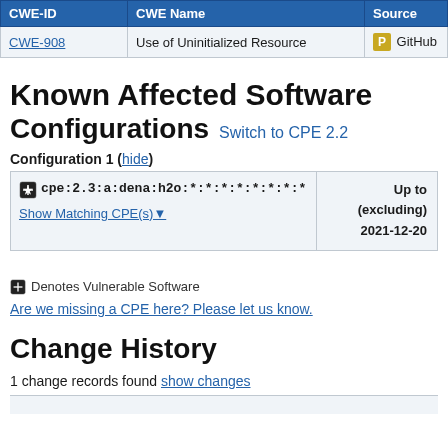| CWE-ID | CWE Name | Source |
| --- | --- | --- |
| CWE-908 | Use of Uninitialized Resource | P GitHub |
Known Affected Software Configurations Switch to CPE 2.2
Configuration 1 ( hide )
| CPE | Up to (excluding) |
| --- | --- |
| cpe:2.3:a:dena:h2o:*:*:*:*:*:*:*:*  Show Matching CPE(s) | 2021-12-20 |
Denotes Vulnerable Software
Are we missing a CPE here? Please let us know.
Change History
1 change records found show changes